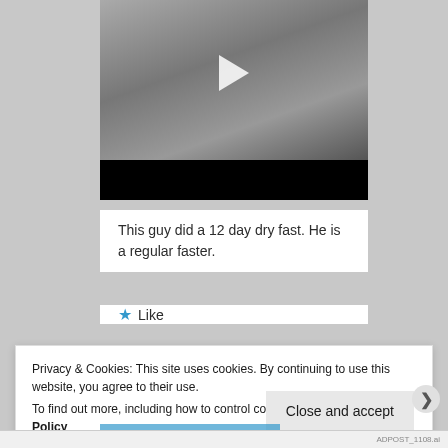[Figure (screenshot): A video thumbnail showing a person crouching/bending forward wearing a gray sleeveless shirt, with a black strip at the bottom and a white play button triangle overlay in the center.]
This guy did a 12 day dry fast. He is a regular faster.
★ Like
Privacy & Cookies: This site uses cookies. By continuing to use this website, you agree to their use.
To find out more, including how to control cookies, see here: Cookie Policy
Close and accept